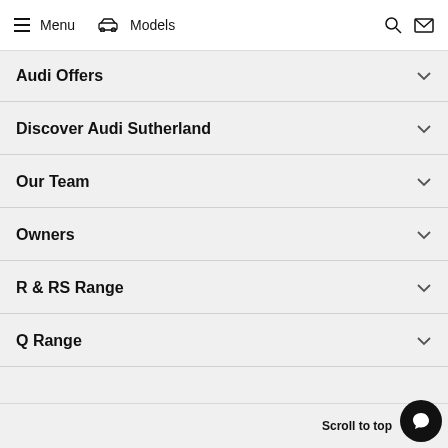Menu  Models
Audi Offers
Discover Audi Sutherland
Our Team
Owners
R & RS Range
Q Range
Scroll to top